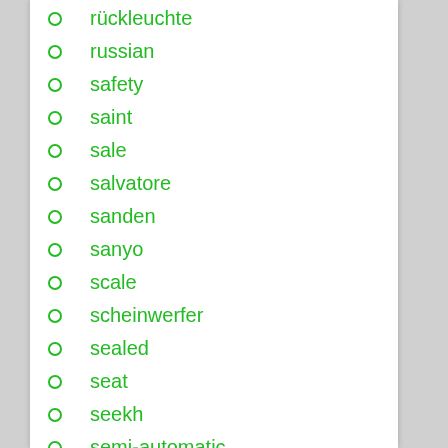rückleuchte
russian
safety
saint
sale
salvatore
sanden
sanyo
scale
scheinwerfer
sealed
seat
seekh
semi-automatic
series
set-ac2133521
set-bs15717
set-ky343130-c
set-ky343157-c